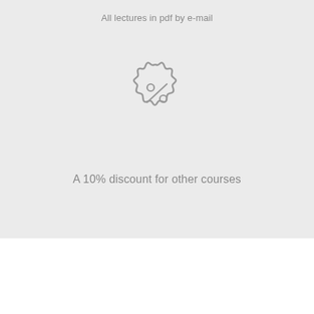All lectures in pdf by e-mail
[Figure (illustration): Discount badge icon — a star/badge outline with a percent sign in the center and two small circles]
A 10% discount for other courses